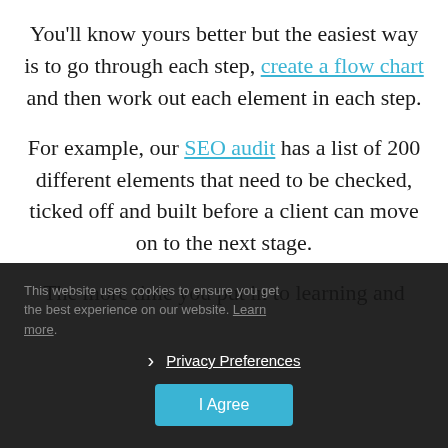You'll know yours better but the easiest way is to go through each step, create a flow chart and then work out each element in each step.
For example, our SEO audit has a list of 200 different elements that need to be checked, ticked off and built before a client can move on to the next stage.
The more time you put in to learning and
This website uses cookies to ensure you get the best experience on our website. Learn more.
Privacy Preferences
I Agree